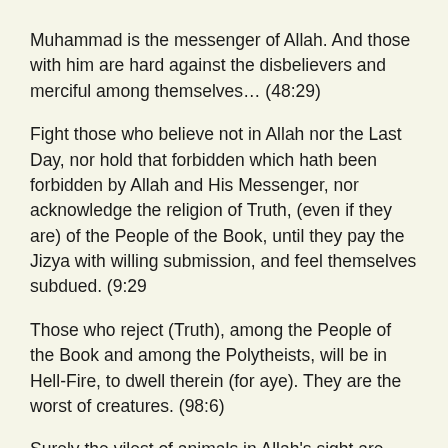Muhammad is the messenger of Allah. And those with him are hard against the disbelievers and merciful among themselves… (48:29)
Fight those who believe not in Allah nor the Last Day, nor hold that forbidden which hath been forbidden by Allah and His Messenger, nor acknowledge the religion of Truth, (even if they are) of the People of the Book, until they pay the Jizya with willing submission, and feel themselves subdued. (9:29
Those who reject (Truth), among the People of the Book and among the Polytheists, will be in Hell-Fire, to dwell therein (for aye). They are the worst of creatures. (98:6)
Surely the vilest of animals in Allah's sight are those who disbelieve, then they would not believe. (8:55)
And if Allah please He would certainly make you a single nation, but He causes to err whom He pleases